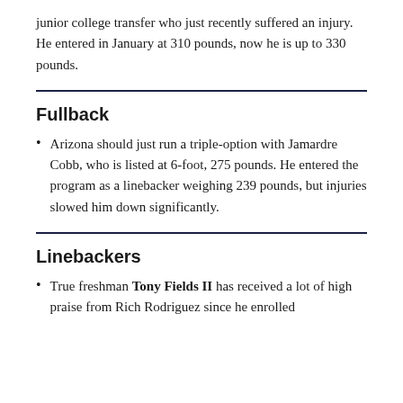junior college transfer who just recently suffered an injury. He entered in January at 310 pounds, now he is up to 330 pounds.
Fullback
Arizona should just run a triple-option with Jamardre Cobb, who is listed at 6-foot, 275 pounds. He entered the program as a linebacker weighing 239 pounds, but injuries slowed him down significantly.
Linebackers
True freshman Tony Fields II has received a lot of high praise from Rich Rodriguez since he enrolled